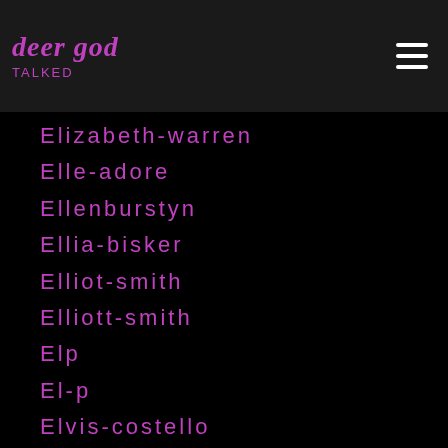deer god
Elizabeth-warren
Elle-adore
Ellenburstyn
Ellia-bisker
Elliot-smith
Elliott-smith
Elp
El-p
Elvis-costello
Elvispresley
Elvis-presley
Embrace
EMG Pickups
Eminem
Emma Bunton
Emma Ruth Rundle
Emperor